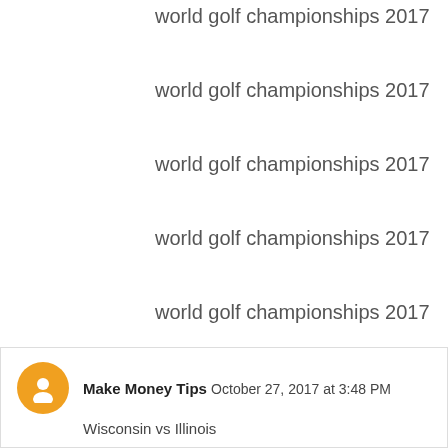world golf championships 2017
world golf championships 2017
world golf championships 2017
world golf championships 2017
world golf championships 2017
Reply
Make Money Tips  October 27, 2017 at 3:48 PM
Wisconsin vs Illinois